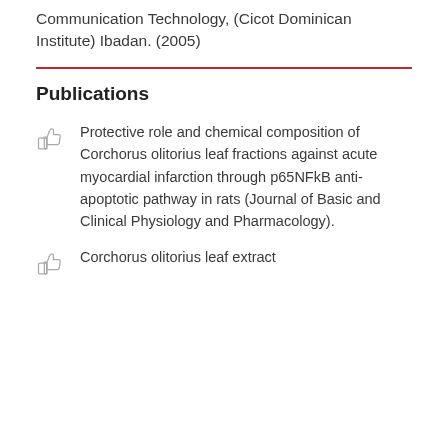Communication Technology, (Cicot Dominican Institute) Ibadan. (2005)
Publications
Protective role and chemical composition of Corchorus olitorius leaf fractions against acute myocardial infarction through p65NFkB anti-apoptotic pathway in rats (Journal of Basic and Clinical Physiology and Pharmacology).
Corchorus olitorius leaf extract